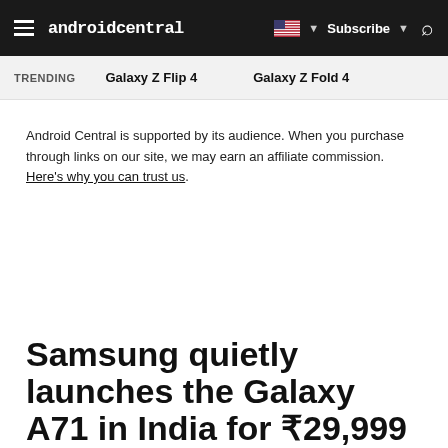androidcentral — Subscribe
TRENDING   Galaxy Z Flip 4   Galaxy Z Fold 4
Android Central is supported by its audience. When you purchase through links on our site, we may earn an affiliate commission. Here's why you can trust us.
Samsung quietly launches the Galaxy A71 in India for ₹29,999